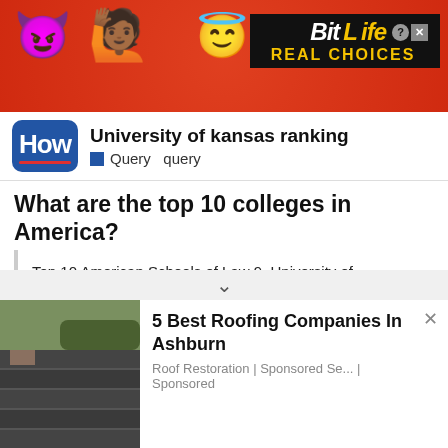[Figure (screenshot): BitLife game advertisement banner with emoji characters and orange/red background, showing 'BitLife REAL CHOICES' branding]
University of kansas ranking
Query  query
What are the top 10 colleges in America?
Top 10 American Schools of Law 9. University of California at Berkeley 9. University of Virginia 8. University of Michigan at Ann Arbor 7. University of Pennsylvania 6. New York University 5. Columbia University (New York) 4. University of Chicago (Illinois) )) 3 Harvard University (MA) 2. Stanford University (California) 1. Yale University (Connecticut).
[Figure (screenshot): Ad overlay: '5 Best Roofing Companies In Ashburn' with roof image and 'Roof Restoration | Sponsored Se... | Sponsored' text]